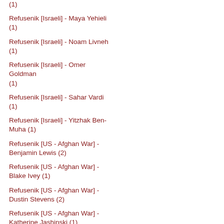(1)
Refusenik [Israeli] - Maya Yehieli (1)
Refusenik [Israeli] - Noam Livneh (1)
Refusenik [Israeli] - Omer Goldman (1)
Refusenik [Israeli] - Sahar Vardi (1)
Refusenik [Israeli] - Yitzhak Ben-Muha (1)
Refusenik [US - Afghan War] - Benjamin Lewis (2)
Refusenik [US - Afghan War] - Blake Ivey (1)
Refusenik [US - Afghan War] - Dustin Stevens (2)
Refusenik [US - Afghan War] - Katherine Jashinski (1)
Refusenik [US - Afghan War] - Matthew Hoh (2)
Refusenik [US - AMEX] - Bethany Smith (2)
Refusenik [US - AMEX] - Brad McNeill (?)